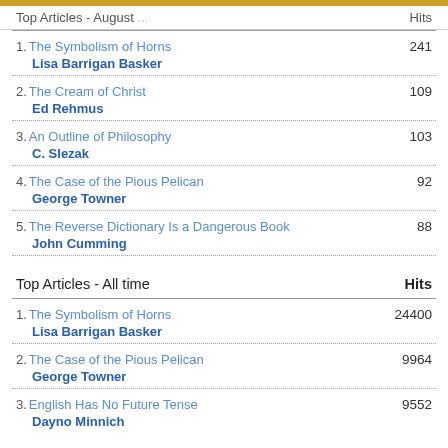Top Articles - August ... Hits
1. The Symbolism of Horns — Lisa Barrigan Basker — 241
2. The Cream of Christ — Ed Rehmus — 109
3. An Outline of Philosophy — C. Slezak — 103
4. The Case of the Pious Pelican — George Towner — 92
5. The Reverse Dictionary Is a Dangerous Book — John Cumming — 88
Top Articles - All time    Hits
1. The Symbolism of Horns — Lisa Barrigan Basker — 24400
2. The Case of the Pious Pelican — George Towner — 9964
3. English Has No Future Tense — Dayno Minnich — 9552